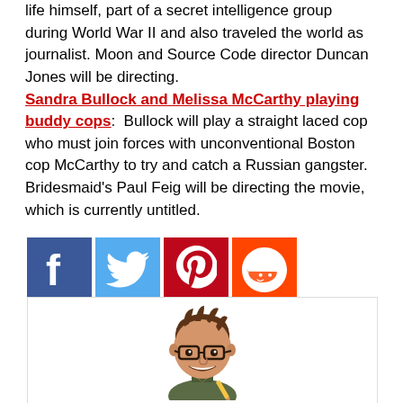life himself, part of a secret intelligence group during World War II and also traveled the world as journalist. Moon and Source Code director Duncan Jones will be directing. Sandra Bullock and Melissa McCarthy playing buddy cops: Bullock will play a straight laced cop who must join forces with unconventional Boston cop McCarthy to try and catch a Russian gangster. Bridesmaid's Paul Feig will be directing the movie, which is currently untitled.
[Figure (infographic): Social media sharing icons: Facebook (blue), Twitter (light blue), Pinterest (red), Reddit (orange-red)]
[Figure (illustration): Cartoon avatar of a person with brown hair, glasses, and dark shirt holding a pen/pencil]